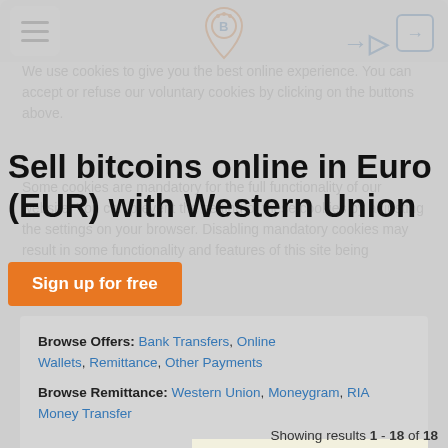[Figure (screenshot): Website screenshot of LocalBitcoins showing a page to sell bitcoins online in Euro (EUR) with Western Union, partially obscured by a cookie consent overlay]
Sell bitcoins online in Euro (EUR) with Western Union
Sign up for free
We use cookies to give you the best online experience. You can accept or refuse our voluntary cookies by clicking on the buttons above. Some cookies are mandatory for the full functionality of our website. You can prevent the setting of these cookies by adjusting the settings on your browser. Disabling mandatory cookies may result in some functionality and features of this site being disabled.
Browse Offers: Bank Transfers, Online Wallets, Remittance, Other Payments
Browse Remittance: Western Union, Moneygram, RIA Money Transfer
Reject voluntary cookies
Accept
Showing results 1 - 18 of 18